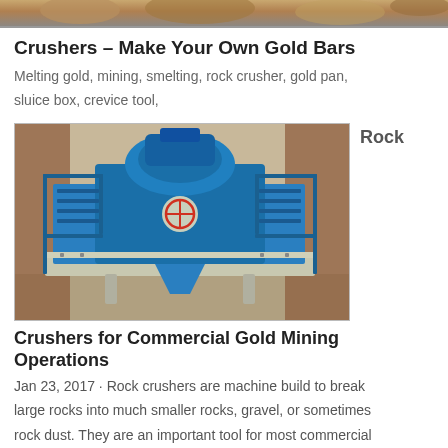[Figure (photo): Top partial image of rocks/mining site, cropped]
Crushers – Make Your Own Gold Bars
Melting gold, mining, smelting, rock crusher, gold pan, sluice box, crevice tool,
[Figure (photo): Large blue industrial rock crusher machine in a warehouse setting]
Rock
Crushers for Commercial Gold Mining Operations
Jan 23, 2017 · Rock crushers are machine build to break large rocks into much smaller rocks, gravel, or sometimes rock dust. They are an important tool for most commercial